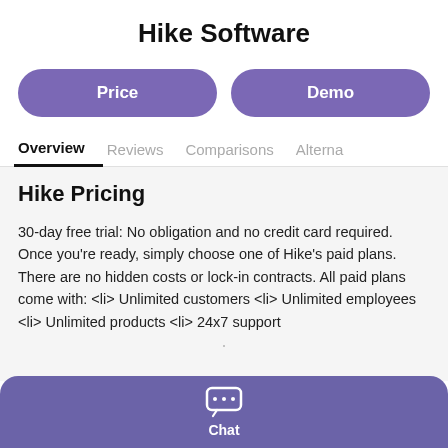Hike Software
Price
Demo
Overview   Reviews   Comparisons   Alterna
Hike Pricing
30-day free trial: No obligation and no credit card required. Once you're ready, simply choose one of Hike's paid plans. There are no hidden costs or lock-in contracts. All paid plans come with: <li> Unlimited customers <li> Unlimited employees <li> Unlimited products <li> 24x7 support
Chat